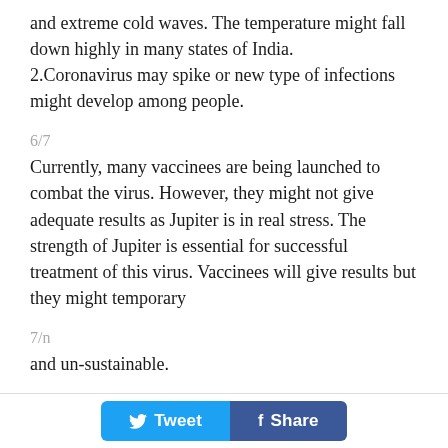and extreme cold waves. The temperature might fall down highly in many states of India.
2.Coronavirus may spike or new type of infections might develop among people.
6/7
Currently, many vaccinees are being launched to combat the virus. However, they might not give adequate results as Jupiter is in real stress. The strength of Jupiter is essential for successful treatment of this virus. Vaccinees will give results but they might temporary
7/n
and un-sustainable.